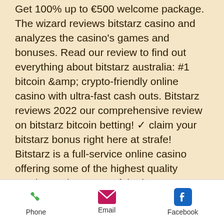Get 100% up to €500 welcome package. The wizard reviews bitstarz casino and analyzes the casino's games and bonuses. Read our review to find out everything about bitstarz australia: #1 bitcoin &amp; crypto-friendly online casino with ultra-fast cash outs. Bitstarz reviews 2022 our comprehensive review on bitstarz bitcoin betting! ✓ claim your bitstarz bonus right here at strafe! Bitstarz is a full-service online casino offering some of the highest quality gaming options, one of the best user interfaces, and free withdrawals for all. We review the bitcoin casino; bitstarz. Read our 2022 comprehensive research and learn why bitstarz. Com is a scam. Verified bitstarz online casino review based on real players reviews, including best slots, bonus codes, casino bonuses and customer service. Casino
Phone | Email | Facebook